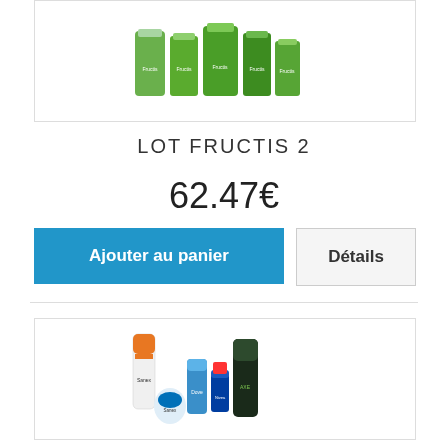[Figure (photo): Group of Garnier Fructis hair care products in green packaging]
LOT FRUCTIS 2
62.47€
Ajouter au panier
Détails
[Figure (photo): Group of men's hygiene and grooming products including Sanex, Nivea, Dove, and Axe brands]
LOT MEN 2